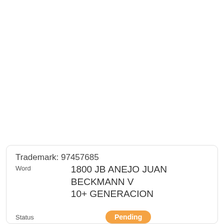Trademark: 97457685
Word
1800 JB ANEJO JUAN BECKMANN V 10+ GENERACION
Status  Pending
Status Code  630